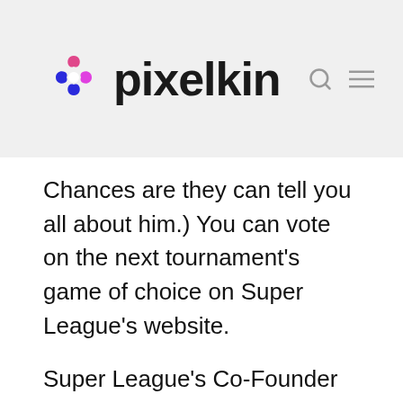pixelkin
Chances are they can tell you all about him.) You can vote on the next tournament's game of choice on Super League's website.
Super League's Co-Founder and Chief Visionary, John Miller, says: “There are all kinds of leagues out there, but there’s still a vast group of gamers who don’t have any way of organizing themselves into recreational teams. We were just a group of dads who saw that void and thought this would be a great way to bring gaming